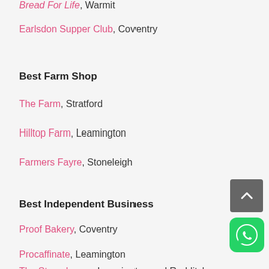Bread For Life, Warmit
Earlsdon Supper Club, Coventry
Best Farm Shop
The Farm, Stratford
Hilltop Farm, Leamington
Farmers Fayre, Stoneleigh
Best Independent Business
Proof Bakery, Coventry
Procaffinate, Leamington
The Steamhouse, Leamington and Redditch